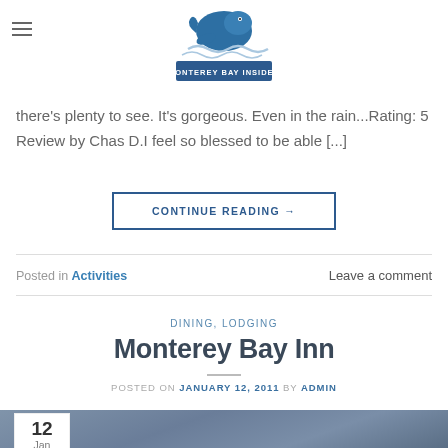Monterey Bay Insider (logo)
out of 5 (37 Reviews) Review... This is one of the best things about living near Monte... run, stroll, whatever... there's plenty to see. It's gorgeous. Even in the rain...Rating: 5 Review by Chas D.I feel so blessed to be able [...]
CONTINUE READING →
Posted in Activities   Leave a comment
DINING, LODGING
Monterey Bay Inn
POSTED ON JANUARY 12, 2011 BY ADMIN
[Figure (photo): Outdoor photo with sky, date badge showing 12 Jan]